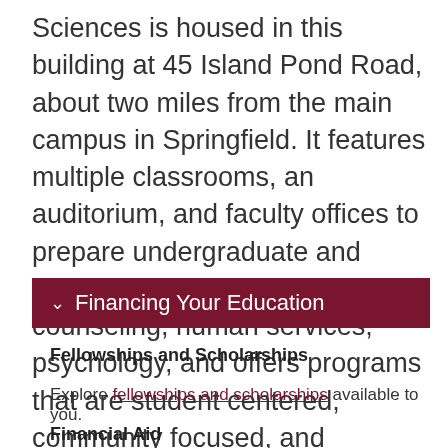Sciences is housed in this building at 45 Island Pond Road, about two miles from the main campus in Springfield. It features multiple classrooms, an auditorium, and faculty offices to prepare undergraduate and graduate students for careers in counseling, human services, psychology, and offers programs that are student centered, community focused, and committed to diversity and social justice.
Financing Your Education
Fellowships and Scholarships
Explore fellowships and scholarships available to you.
Financial Aid